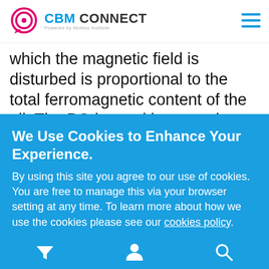CBM CONNECT — Powered by Mobius Institute
which the magnetic field is disturbed is proportional to the total ferromagnetic content of the oil. The PQ is a unitless number, but it is quantitative and can be trended: the higher the number, the more ferrous debris present. Although the PQ is related to the total ferrous content of the sample, it is difficult to express this as an actual concentration in mg per litre. This is
We Use Cookies to Enhance Your Experience.
By using this site you agree to our use of cookies. You are free to manage this via your browser setting at any time. To learn more about how we use the cookies please see our cookies policy.
Accept & Close